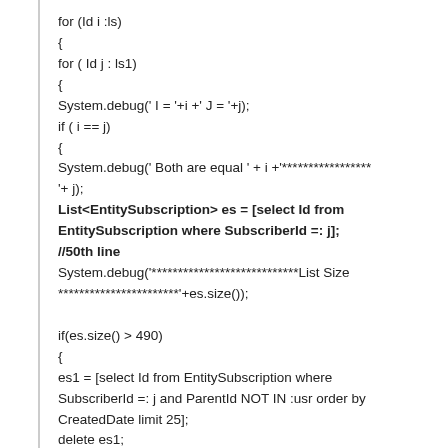for (Id i :ls)
{
for ( Id j : ls1)
{
System.debug(' I = '+i +' J = '+j);
if ( i == j)
{
System.debug(' Both are equal ' + i +'******************'+ j);
List<EntitySubscription> es = [select Id from EntitySubscription where SubscriberId =: j];
//50th line
System.debug('****************************List Size ***********************'+es.size());

if(es.size() > 490)
{
es1 = [select Id from EntitySubscription where SubscriberId =: j and ParentId NOT IN :usr order by CreatedDate limit 25];
delete es1;
}